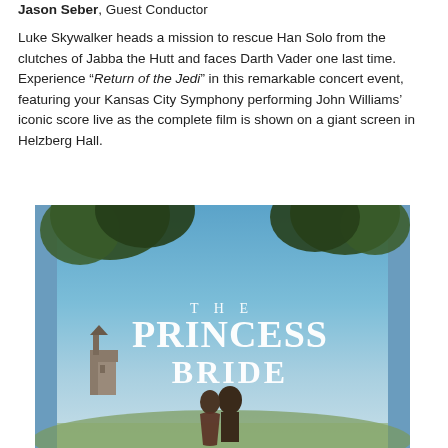Jason Seber, Guest Conductor
Luke Skywalker heads a mission to rescue Han Solo from the clutches of Jabba the Hutt and faces Darth Vader one last time. Experience “Return of the Jedi” in this remarkable concert event, featuring your Kansas City Symphony performing John Williams’ iconic score live as the complete film is shown on a giant screen in Helzberg Hall.
[Figure (photo): Movie poster for The Princess Bride showing the title text over a scenic background with two characters facing each other in the foreground and a castle in the background.]